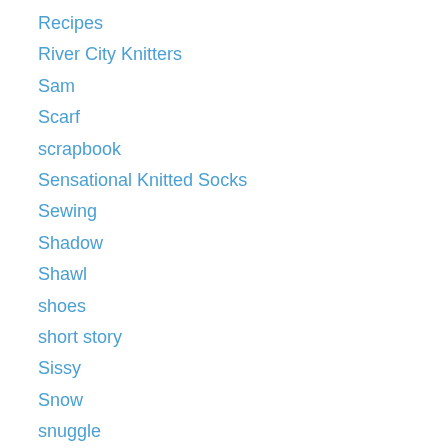Recipes
River City Knitters
Sam
Scarf
scrapbook
Sensational Knitted Socks
Sewing
Shadow
Shawl
shoes
short story
Sissy
Snow
snuggle
Sock Club
Sock it to me
socks
Sockza
sotsiii
SoXperience